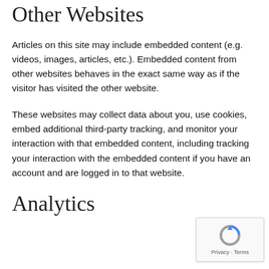Other Websites
Articles on this site may include embedded content (e.g. videos, images, articles, etc.). Embedded content from other websites behaves in the exact same way as if the visitor has visited the other website.
These websites may collect data about you, use cookies, embed additional third-party tracking, and monitor your interaction with that embedded content, including tracking your interaction with the embedded content if you have an account and are logged in to that website.
Analytics